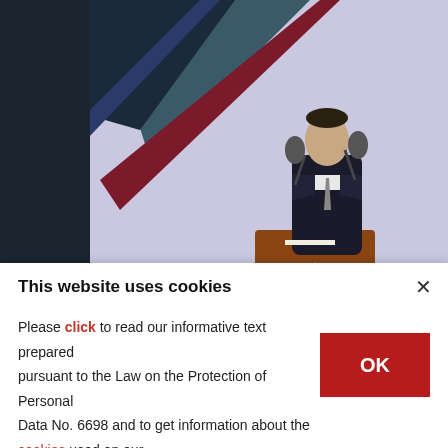[Figure (photo): A man in a dark suit speaks at a podium with a Russian double-headed eagle emblem, in front of a colorful geometric background of dark green, blue, and red/purple shapes, with two microphones visible.]
End this operation, Putin
RUSSIA-UKRAINE-WAR
[Figure (photo): Partial view of a stone or concrete surface with a golden letter T visible.]
This website uses cookies
Please click to read our informative text prepared pursuant to the Law on the Protection of Personal Data No. 6698 and to get information about the cookies used on our